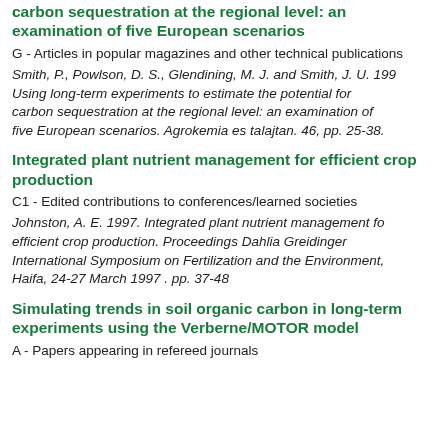carbon sequestration at the regional level: an examination of five European scenarios
G - Articles in popular magazines and other technical publications
Smith, P., Powlson, D. S., Glendining, M. J. and Smith, J. U. 1997. Using long-term experiments to estimate the potential for carbon sequestration at the regional level: an examination of five European scenarios. Agrokemia es talajtan. 46, pp. 25-38.
Integrated plant nutrient management for efficient crop production
C1 - Edited contributions to conferences/learned societies
Johnston, A. E. 1997. Integrated plant nutrient management for efficient crop production. Proceedings Dahlia Greidinger International Symposium on Fertilization and the Environment, Haifa, 24-27 March 1997 . pp. 37-48
Simulating trends in soil organic carbon in long-term experiments using the Verberne/MOTOR model
A - Papers appearing in refereed journals